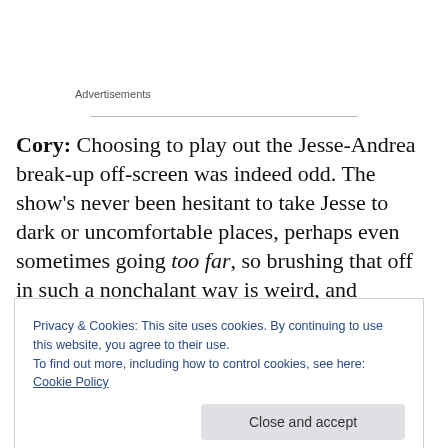Advertisements
Cory: Choosing to play out the Jesse-Andrea break-up off-screen was indeed odd. The show's never been hesitant to take Jesse to dark or uncomfortable places, perhaps even sometimes going too far, so brushing that off in such a nonchalant way is weird, and intriguing. I would say that maybe Jesse picked up on Walt's
Privacy & Cookies: This site uses cookies. By continuing to use this website, you agree to their use.
To find out more, including how to control cookies, see here: Cookie Policy
wouldn't give Walt the watch* if he had more nefarious